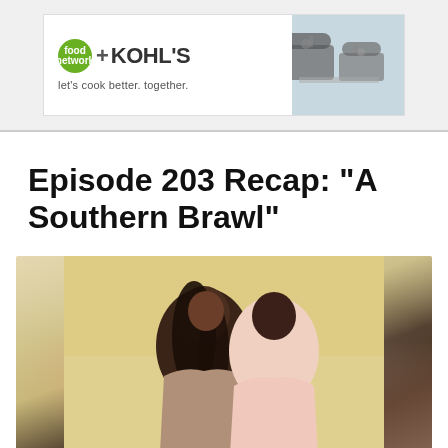[Figure (illustration): Food Network + Kohl's advertisement banner. Green Food Network logo circle on left, large bold text '+KOHL'S', tagline 'let's cook better. together.' Below is a photo of cookware/pots on a stovetop.]
Episode 203 Recap: "A Southern Brawl"
[Figure (photo): A couple laughing together. A woman with long dark hair is laughing joyfully while a man in a light pink shirt leans in close to her.]